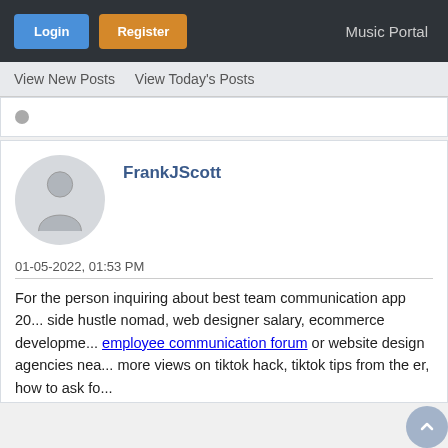Login | Register | Music Portal
View New Posts   View Today's Posts
FrankJScott
01-05-2022, 01:53 PM
For the person inquiring about best team communication app 20... side hustle nomad, web designer salary, ecommerce developme... employee communication forum or website design agencies nea... more views on tiktok hack, tiktok tips from the er, how to ask fo... high rated employee communication advice not to mention...